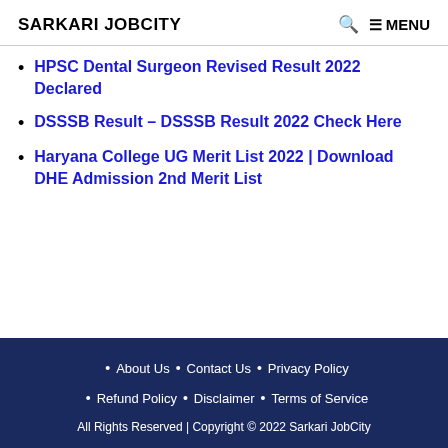SARKARI JOBCITY   🔍 ≡ MENU
HPSC Dental Surgeon Revised Result 2022 Declared
DSSSB Result – DSSSB Result 2022 Check Here
Haryana College UG Merit List 2022 | Download DHE Admission 2nd Merit List
About Us • Contact Us • Privacy Policy • Refund Policy • Disclaimer • Terms of Service
All Rights Reserved | Copyright © 2022 Sarkari JobCity